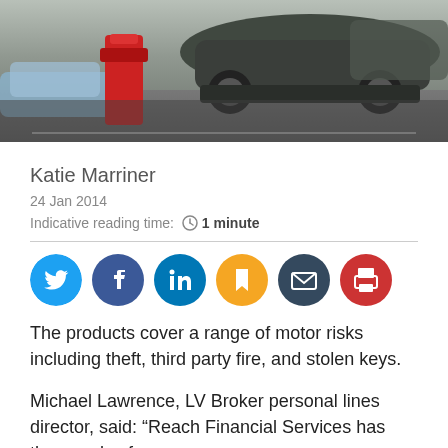[Figure (photo): Photo of overturned car in a parking lot scene with a red fire hydrant and silver car visible]
Katie Marriner
24 Jan 2014
Indicative reading time: 1 minute
[Figure (infographic): Social sharing icons: Twitter, Facebook, LinkedIn, Bookmark, Email, Print]
The products cover a range of motor risks including theft, third party fire, and stolen keys.
Michael Lawrence, LV Broker personal lines director, said: “Reach Financial Services has thousands of